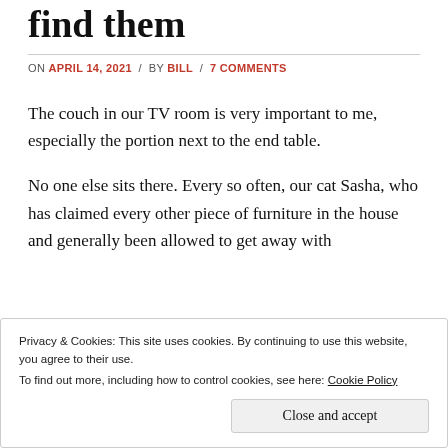find them
ON APRIL 14, 2021 / BY BILL / 7 COMMENTS
The couch in our TV room is very important to me, especially the portion next to the end table.
No one else sits there. Every so often, our cat Sasha, who has claimed every other piece of furniture in the house and generally been allowed to get away with
Privacy & Cookies: This site uses cookies. By continuing to use this website, you agree to their use.
To find out more, including how to control cookies, see here: Cookie Policy
Close and accept